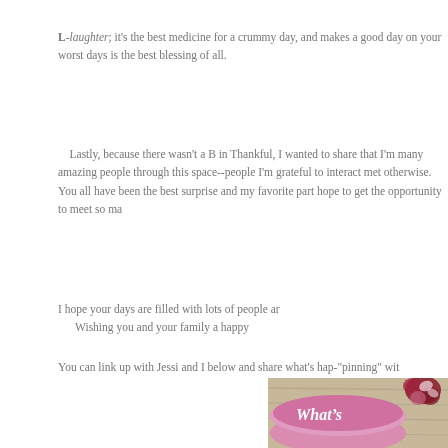L-laughter; it's the best medicine for a crummy day, and makes a good day on your worst days is the best blessing of all.
Lastly, because there wasn't a B in Thankful, I wanted to share that I'm many amazing people through this space--people I'm grateful to interact met otherwise. You all have been the best surprise and my favorite part hope to get the opportunity to meet so ma
I hope your days are filled with lots of people ar Wishing you and your family a happy
You can link up with Jessi and I below and share what's hap-"pinning" wit
[Figure (photo): A pink lid/jar with 'What's' written in white cursive script, with floral decoration (red/white flowers) visible in the upper right, on a wooden surface background.]